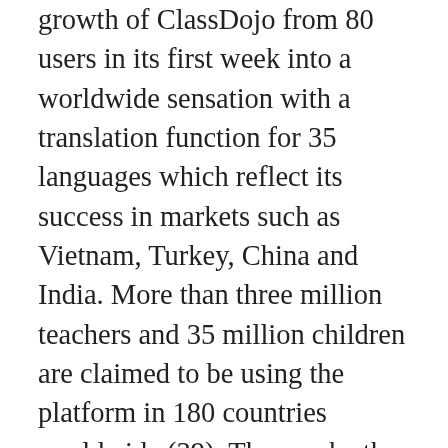growth of ClassDojo from 80 users in its first week into a worldwide sensation with a translation function for 35 languages which reflect its success in markets such as Vietnam, Turkey, China and India. More than three million teachers and 35 million children are claimed to be using the platform in 180 countries worldwide (39). They make the interesting observation that this growth appears to be “impervious to the typical bureaucratic gatekeeping processes of national education systems” (39). However despite its apparent results, “classer in question